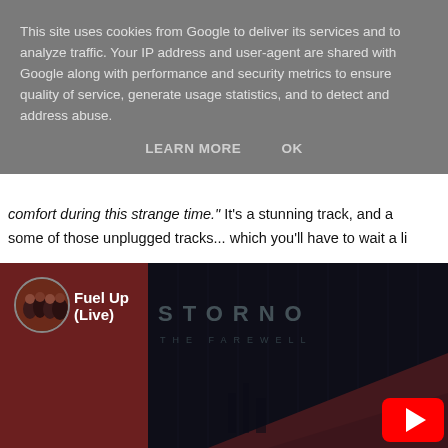This site uses cookies from Google to deliver its services and to analyze traffic. Your IP address and user-agent are shared with Google along with performance and security metrics to ensure quality of service, generate usage statistics, and to detect and address abuse.
LEARN MORE    OK
comfort during this strange time." It's a stunning track, and a some of those unplugged tracks... which you'll have to wait a li
[Figure (screenshot): YouTube video embed showing 'Fuel Up (Live)' by Storno - The Farewell, with a dark red left panel featuring a band avatar and the video title, a dark right panel with glowing letters spelling STORNO and THE FAREWELL, red triangular shapes at the bottom, and a YouTube play button in the lower right corner.]